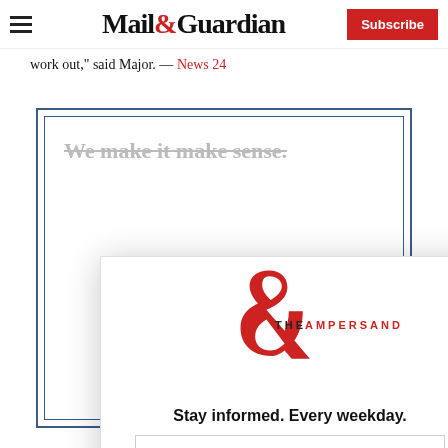Mail&Guardian — Subscribe
work out," said Major. — News 24
[Figure (screenshot): Mail & Guardian newsletter signup modal with The Ampersand logo, tagline 'Stay informed. Every weekday.', email address input field, and a red 'Signup now' button. A close (X) button appears in the top-right corner of the modal.]